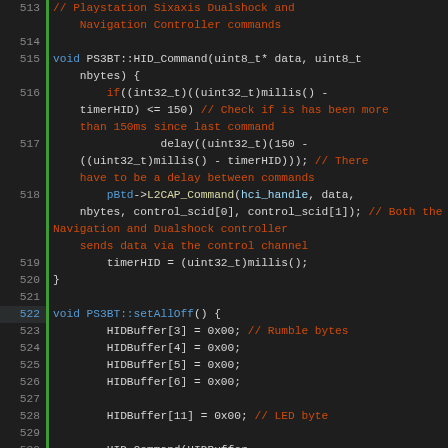[Figure (screenshot): Source code screenshot showing C++ code for PS3 Bluetooth HID commands, lines 513-536, dark theme editor with syntax highlighting]